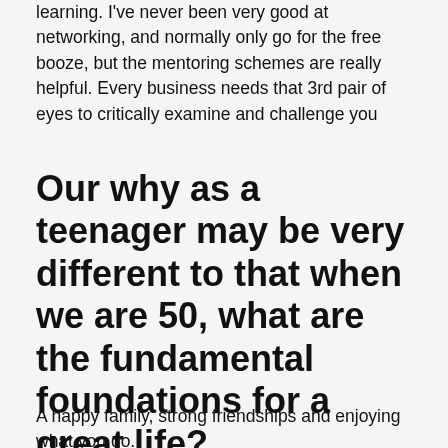learning. I've never been very good at networking, and normally only go for the free booze, but the mentoring schemes are really helpful. Every business needs that 3rd pair of eyes to critically examine and challenge you
Our why as a teenager may be very different to that when we are 50, what are the fundamental foundations for a great life?
A happy family, strong friendships and enjoying what you do.